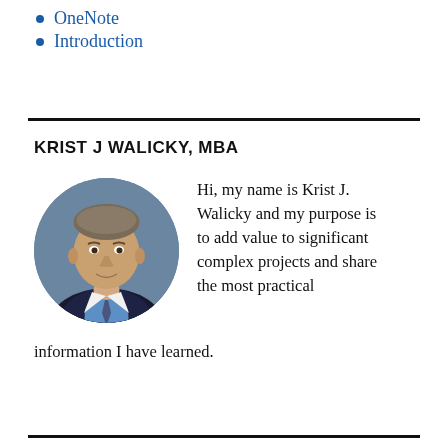OneNote
Introduction
KRIST J WALICKY, MBA
[Figure (photo): Circular headshot of Krist J. Walicky, a man in a dark suit and blue shirt with a tie, against a blue-grey background.]
Hi, my name is Krist J. Walicky and my purpose is to add value to significant complex projects and share the most practical information I have learned.